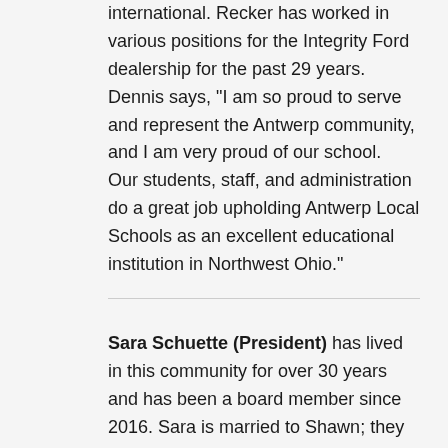international. Recker has worked in various positions for the Integrity Ford dealership for the past 29 years.  Dennis says, "I am so proud to serve and represent the Antwerp community, and I am very proud of our school.  Our students, staff, and administration do a great job upholding Antwerp Local Schools as an excellent educational institution in Northwest Ohio."
Sara Schuette (President) has lived in this community for over 30 years and has been a board member since 2016. Sara is married to Shawn; they have two children, Blake and